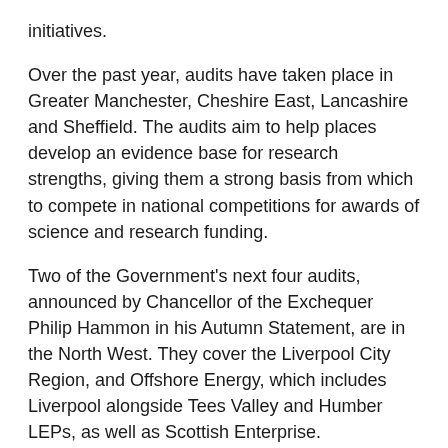initiatives.
Over the past year, audits have taken place in Greater Manchester, Cheshire East, Lancashire and Sheffield. The audits aim to help places develop an evidence base for research strengths, giving them a strong basis from which to compete in national competitions for awards of science and research funding.
Two of the Government's next four audits, announced by Chancellor of the Exchequer Philip Hammon in his Autumn Statement, are in the North West. They cover the Liverpool City Region, and Offshore Energy, which includes Liverpool alongside Tees Valley and Humber LEPs, as well as Scottish Enterprise.
Liverpool City Council will be working with delivery partners at the Liverpool City Region LEP, the